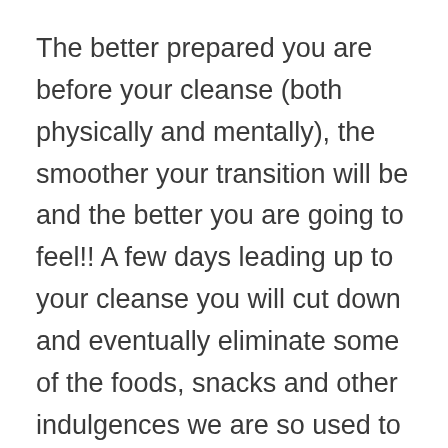The better prepared you are before your cleanse (both physically and mentally), the smoother your transition will be and the better you are going to feel!! A few days leading up to your cleanse you will cut down and eventually eliminate some of the foods, snacks and other indulgences we are so used to eating every day.
Certain foods, such as coffee, sugar, meat, dairy, alcohol, and wheat are phased out to reduce headaches, cravings, and other withdrawal symptoms. It's also important to